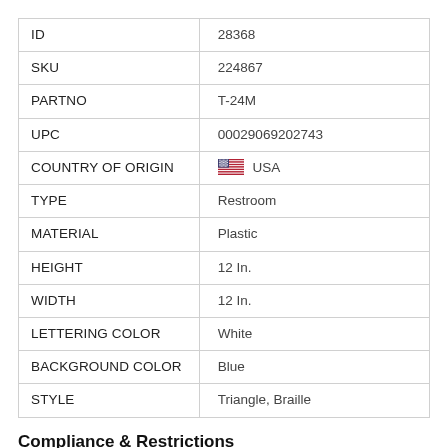| ID | 28368 |
| SKU | 224867 |
| PARTNO | T-24M |
| UPC | 00029069202743 |
| COUNTRY OF ORIGIN | 🇺🇸 USA |
| TYPE | Restroom |
| MATERIAL | Plastic |
| HEIGHT | 12 In. |
| WIDTH | 12 In. |
| LETTERING COLOR | White |
| BACKGROUND COLOR | Blue |
| STYLE | Triangle, Braille |
Compliance & Restrictions
WARNING: This product can expose you to chemicals